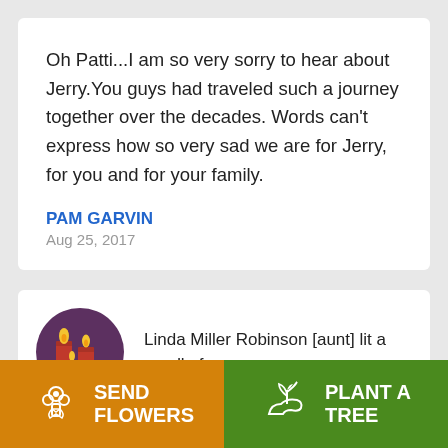Oh Patti...I am so very sorry to hear about Jerry.You guys had traveled such a journey together over the decades. Words can't express how so very sad we are for Jerry, for you and for your family.
PAM GARVIN
Aug 25, 2017
[Figure (illustration): Circular icon with dark purple background showing two red candles with yellow flames]
Linda Miller Robinson [aunt] lit a candle for
[Figure (illustration): Orange button with white flower/bouquet icon and text SEND FLOWERS]
[Figure (illustration): Green button with white plant/tree icon and text PLANT A TREE]